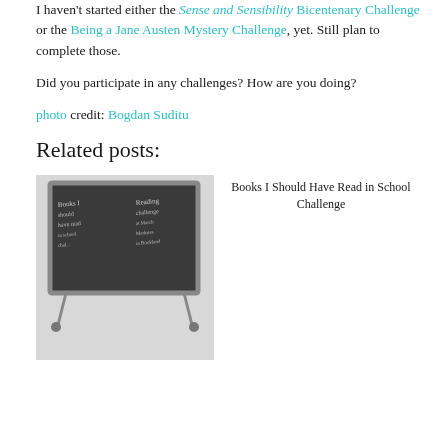I haven't started either the Sense and Sensibility Bicentenary Challenge or the Being a Jane Austen Mystery Challenge, yet. Still plan to complete those.
Did you participate in any challenges? How are you doing?
photo credit: Bogdan Suditu
Related posts:
[Figure (photo): Black and white vintage photo of a woman in dark clothing writing on a chalkboard with text about reading challenges]
Books I Should Have Read in School Challenge